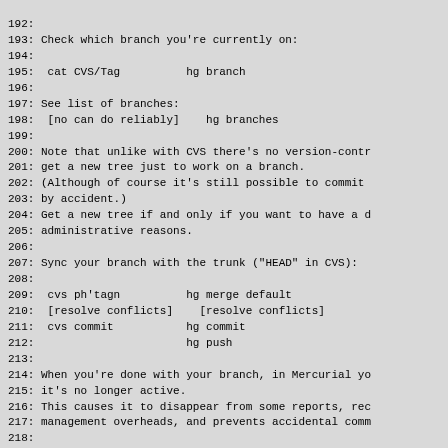192:
193: Check which branch you're currently on:
194:
195:  cat CVS/Tag          hg branch
196:
197: See list of branches:
198:  [no can do reliably]    hg branches
199:
200: Note that unlike with CVS there's no version-contr
201: get a new tree just to work on a branch.
202: (Although of course it's still possible to commit
203: by accident.)
204: Get a new tree if and only if you want to have a d
205: administrative reasons.
206:
207: Sync your branch with the trunk ("HEAD" in CVS):
208:
209:  cvs ph'tagn          hg merge default
210:  [resolve conflicts]    [resolve conflicts]
211:  cvs commit           hg commit
212:                       hg push
213:
214: When you're done with your branch, in Mercurial yo
215: it's no longer active.
216: This causes it to disappear from some reports, rec
217: management overheads, and prevents accidental comm
218:
219:  [no can do]          hg commit --close-branch
220:
221: Don't forget to update doc/BRANCHES too.